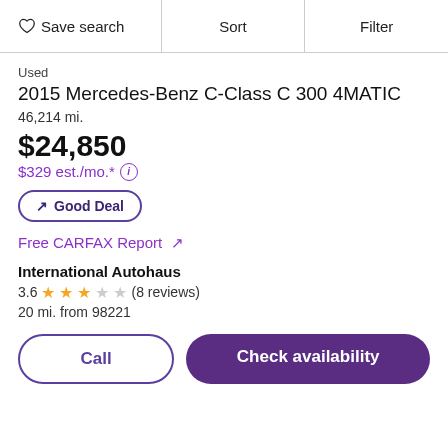Save search | Sort | Filter
Used
2015 Mercedes-Benz C-Class C 300 4MATIC
46,214 mi.
$24,850
$329 est./mo.*
Good Deal
Free CARFAX Report ↗
International Autohaus
3.6 ★★★☆☆ (8 reviews)
20 mi. from 98221
Call
Check availability